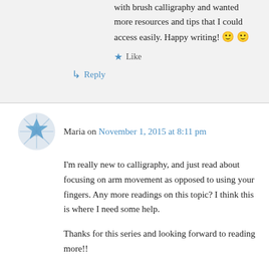with brush calligraphy and wanted more resources and tips that I could access easily. Happy writing! 🙂 🙂
★ Like
↳ Reply
Maria on November 1, 2015 at 8:11 pm
I'm really new to calligraphy, and just read about focusing on arm movement as opposed to using your fingers. Any more readings on this topic? I think this is where I need some help.
Thanks for this series and looking forward to reading more!!